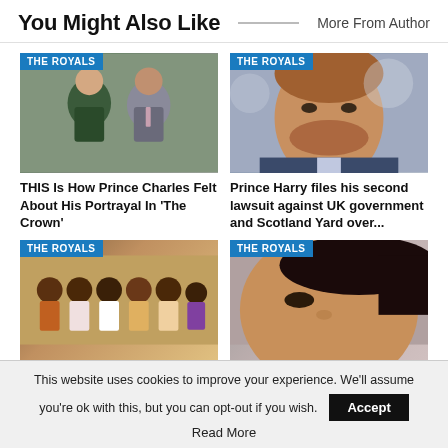You Might Also Like
More From Author
[Figure (photo): Photo of Camilla and Prince Charles standing together outdoors with a stone wall background. Blue tag reads THE ROYALS.]
[Figure (photo): Close-up photo of Prince Harry looking serious. Blue tag reads THE ROYALS.]
THIS Is How Prince Charles Felt About His Portrayal In 'The Crown'
Prince Harry files his second lawsuit against UK government and Scotland Yard over...
[Figure (photo): Photo of a group of people in traditional attire. Blue tag reads THE ROYALS.]
[Figure (photo): Close-up photo of a woman's face (partial). Blue tag reads THE ROYALS.]
This website uses cookies to improve your experience. We'll assume you're ok with this, but you can opt-out if you wish.
Accept
Read More